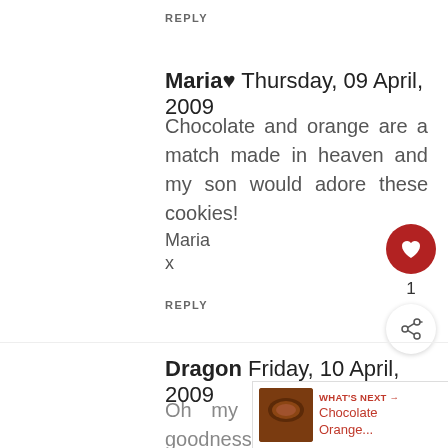REPLY
Maria♥ Thursday, 09 April, 2009
Chocolate and orange are a match made in heaven and my son would adore these cookies!
Maria
x
REPLY
Dragon Friday, 10 April, 2009
Oh my goodness! The amazing. :)
WHAT'S NEXT → Chocolate Orange...